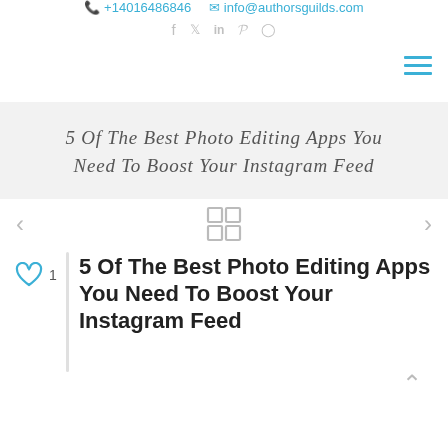✆ +14016486846  ✉ info@authorsguilds.com  f  𝕏  in  𝒫  ⊙
5 Of The Best Photo Editing Apps You Need To Boost Your Instagram Feed
5 Of The Best Photo Editing Apps You Need To Boost Your Instagram Feed